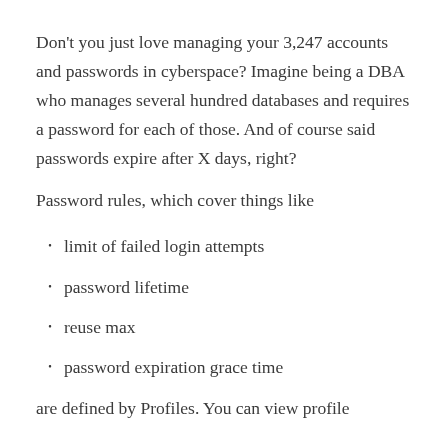Don't you just love managing your 3,247 accounts and passwords in cyberspace? Imagine being a DBA who manages several hundred databases and requires a password for each of those. And of course said passwords expire after X days, right?
Password rules, which cover things like
limit of failed login attempts
password lifetime
reuse max
password expiration grace time
are defined by Profiles. You can view profile